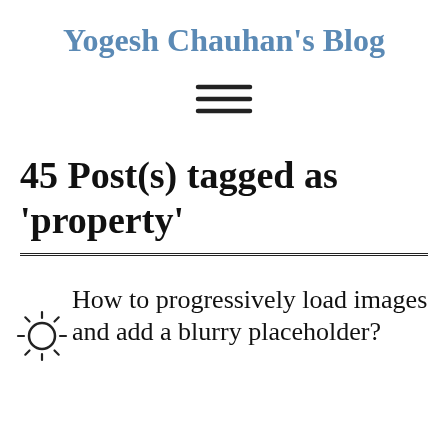Yogesh Chauhan's Blog
[Figure (other): Hamburger menu icon (three horizontal lines)]
45 Post(s) tagged as 'property'
How to progressively load images and add a blurry placeholder?